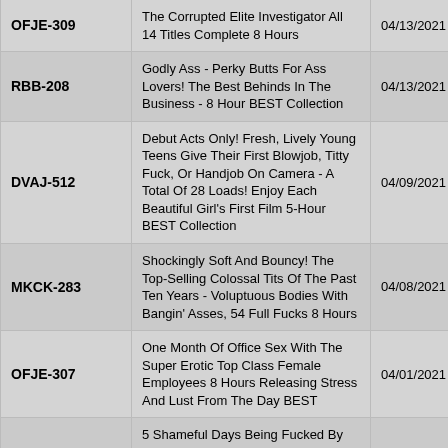| Code | Title | Date |
| --- | --- | --- |
| OFJE-309 | The Corrupted Elite Investigator All 14 Titles Complete 8 Hours | 04/13/2021 |
| RBB-208 | Godly Ass - Perky Butts For Ass Lovers! The Best Behinds In The Business - 8 Hour BEST Collection | 04/13/2021 |
| DVAJ-512 | Debut Acts Only! Fresh, Lively Young Teens Give Their First Blowjob, Titty Fuck, Or Handjob On Camera - A Total Of 28 Loads! Enjoy Each Beautiful Girl's First Film 5-Hour BEST Collection | 04/09/2021 |
| MKCK-283 | Shockingly Soft And Bouncy! The Top-Selling Colossal Tits Of The Past Ten Years - Voluptuous Bodies With Bangin' Asses, 54 Full Fucks 8 Hours | 04/08/2021 |
| OFJE-307 | One Month Of Office Sex With The Super Erotic Top Class Female Employees 8 Hours Releasing Stress And Lust From The Day BEST | 04/01/2021 |
| SSIS-026 | 5 Shameful Days Being Fucked By My Father-in-Law It Started The Monday My Husband Left For A Business Trip Saki Okuda | 04/01/2021 |
| OFJE-304 | Gorgeous Big Tits Bouncing All Over The Place! All G-Cup And Bigger Actresses Ride Dick Until They Cum 50 Rounds | 03/17/2021 |